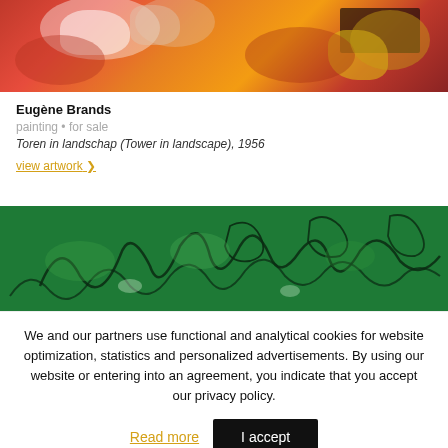[Figure (photo): Abstract painting with orange, red, white, and yellow tones, with a dark rectangular shape near the top right.]
Eugène Brands
painting • for sale
Toren in landschap (Tower in landscape), 1956
view artwork ❯
[Figure (photo): Abstract painting dominated by dark green tones with black curved line drawings on top.]
We and our partners use functional and analytical cookies for website optimization, statistics and personalized advertisements. By using our website or entering into an agreement, you indicate that you accept our privacy policy.
Read more
I accept